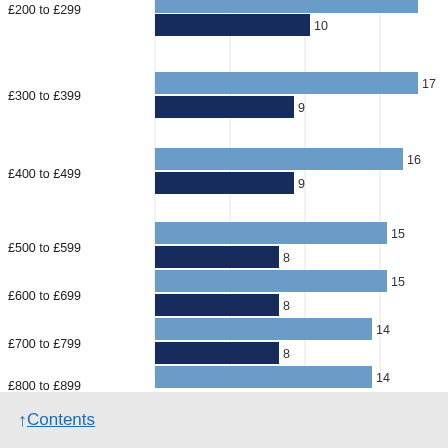[Figure (grouped-bar-chart): Weekly rent by price band]
Contents